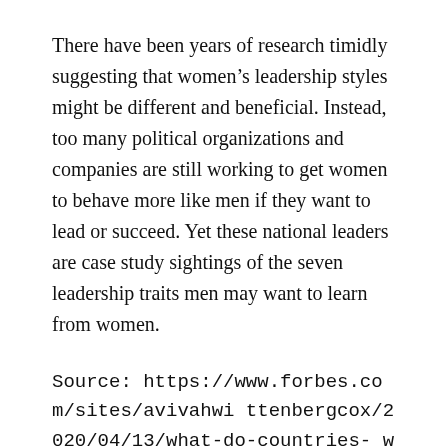There have been years of research timidly suggesting that women's leadership styles might be different and beneficial. Instead, too many political organizations and companies are still working to get women to behave more like men if they want to lead or succeed. Yet these national leaders are case study sightings of the seven leadership traits men may want to learn from women.
Source: https://www.forbes.com/sites/avivahwittenbergcox/2020/04/13/what-do-countries-with-the-best-coronavirus-reponses-have-in-common-women-leaders/#93644653dec4